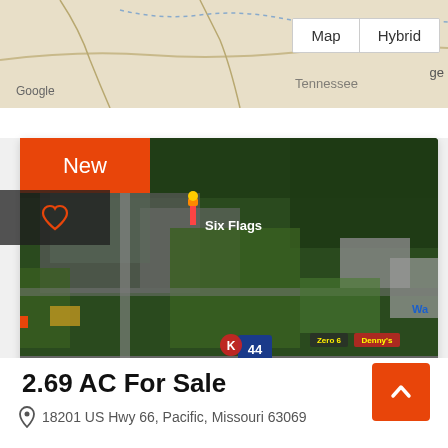[Figure (map): Google map view showing road network with Map and Hybrid toggle buttons]
[Figure (photo): Aerial satellite view of property near Six Flags and Interstate 44 in Pacific, Missouri]
New
2.69 AC For Sale
18201 US Hwy 66, Pacific, Missouri 63069